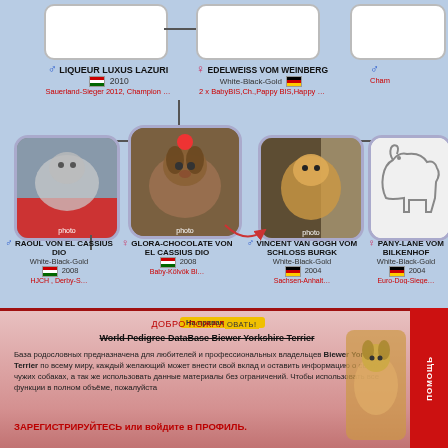[Figure (organizational-chart): Biewer Yorkshire Terrier pedigree chart showing dogs LIQUEUR LUXUS LAZURI, EDELWEISS VOM WEINBERG, RAOUL VON EL CASSIUS DIO, GLORA-CHOCOLATE VON EL CASSIUS DIO, VINCENT VAN GOGH VOM SCHLOSS BURGK, PANY-LANE VOM BILKENHOF with photos and breeding information]
ДОБРО ПОЖАЛОВАТЬ! На правах рекламы World Pedigree DataBase Biewer Yorkshire Terrier База родословных предназначена для любителей и профессиональных владельцев Biewer Yorkshire Terrier по всему миру, каждый желающий может внести свой вклад и оставить информацию о своих и чужих собаках, а так же использовать данные материалы без ограничений. Чтобы использовать все функции в полном объёме, пожалуйста ЗАРЕГИСТРИРУЙТЕСЬ или войдите в ПРОФИЛЬ.